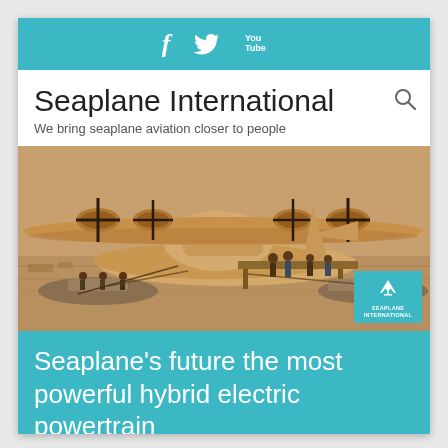f  Twitter  YouTube
Seaplane International
We bring seaplane aviation closer to people
[Figure (photo): Sepia-toned historical photograph of a large flying boat seaplane on water with people on a dock/platform and small boats nearby. Seaplane International logo badge in bottom right corner.]
Seaplane's future the most powerful hybrid electric powertrain